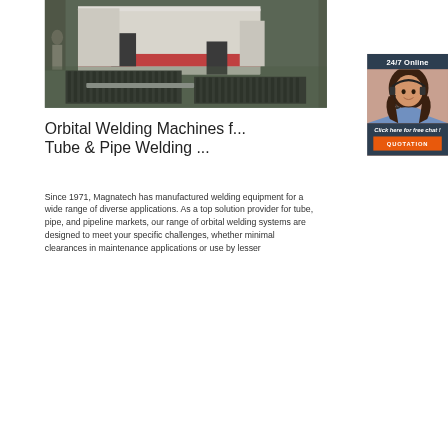[Figure (photo): Aerial/overhead view of an industrial facility or factory floor showing what appears to be a shipping container building with conveyor or rail systems visible, industrial machinery in the background.]
[Figure (photo): Customer service agent — a young woman with dark hair wearing a headset, smiling, shown in a sidebar widget with '24/7 Online' header and chat/quotation call-to-action buttons.]
Orbital Welding Machines f... Tube & Pipe Welding ...
Since 1971, Magnatech has manufactured welding equipment for a wide range of diverse applications. As a top solution provider for tube, pipe, and pipeline markets, our range of orbital welding systems are designed to meet your specific challenges, whether minimal clearances in maintenance applications or use by lesser